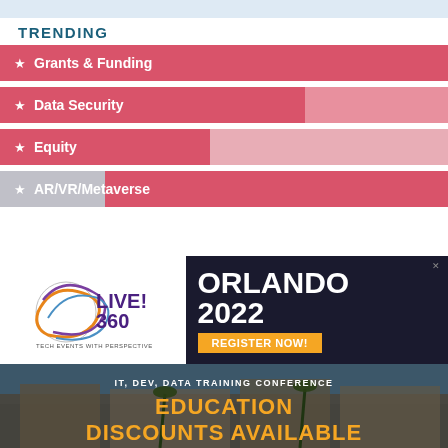TRENDING
Grants & Funding
Data Security
Equity
AR/VR/Metaverse
[Figure (infographic): Live! 360 Tech Events with Perspective advertisement for Orlando 2022 IT, Dev, Data Training Conference with education discounts available. Features logo, orange Register Now button, and photo of Orlando venue.]